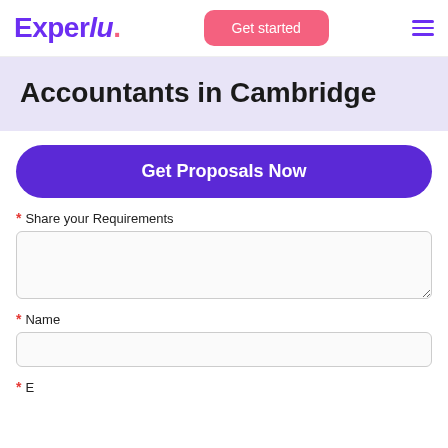Experlu. | Get started
Accountants in Cambridge
Get Proposals Now
* Share your Requirements
* Name
* Email